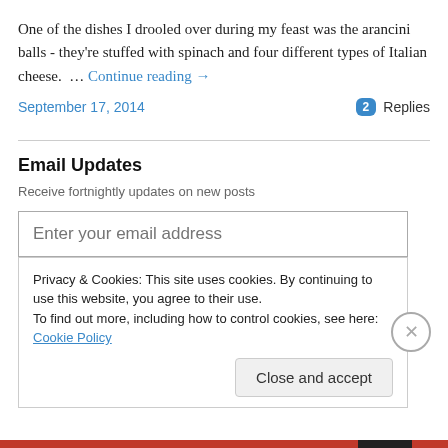One of the dishes I drooled over during my feast was the arancini balls - they're stuffed with spinach and four different types of Italian cheese.  … Continue reading →
September 17, 2014
2 Replies
Email Updates
Receive fortnightly updates on new posts
Enter your email address
Privacy & Cookies: This site uses cookies. By continuing to use this website, you agree to their use.
To find out more, including how to control cookies, see here: Cookie Policy
Close and accept